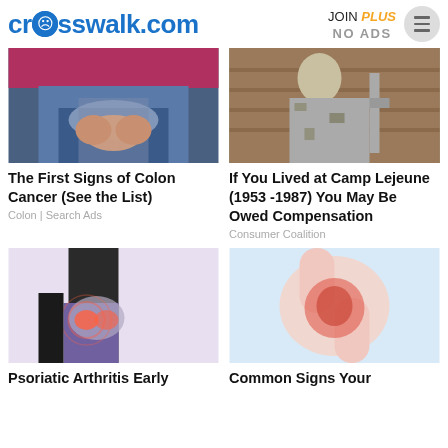crosswalk.com | JOIN PLUS NO ADS
[Figure (photo): Person holding their lower back/hip area, wearing jeans]
The First Signs of Colon Cancer (See the List)
Colon | Search Ads
[Figure (photo): Military person working on plumbing or pipes on a wall]
If You Lived at Camp Lejeune (1953 -1987) You May Be Owed Compensation
Consumer Coalition
[Figure (photo): Illustration of person with hip/pelvis pain highlighted in red]
Psoriatic Arthritis Early
[Figure (photo): Medical illustration of a joint/elbow with red inflammation area]
Common Signs Your